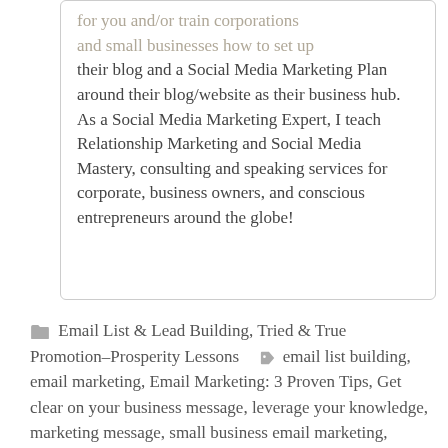for you and/or train corporations and small businesses how to set up their blog and a Social Media Marketing Plan around their blog/website as their business hub. As a Social Media Marketing Expert, I teach Relationship Marketing and Social Media Mastery, consulting and speaking services for corporate, business owners, and conscious entrepreneurs around the globe!
Email List & Lead Building, Tried & True Promotion–Prosperity Lessons  email list building, email marketing, Email Marketing: 3 Proven Tips, Get clear on your business message, leverage your knowledge, marketing message, small business email marketing, target audience  8 Comments